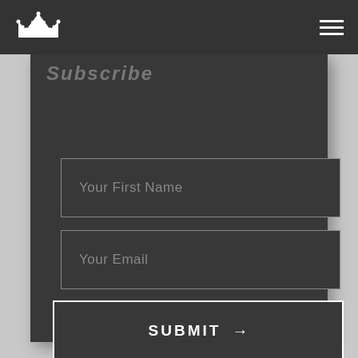[Figure (logo): White crown logo icon in navigation bar]
Subscribe
Your First Name
Your Email
SUBMIT →